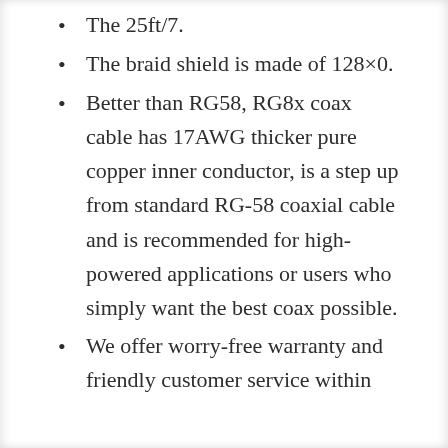The 25ft/7.
The braid shield is made of 128×0.
Better than RG58, RG8x coax cable has 17AWG thicker pure copper inner conductor, is a step up from standard RG-58 coaxial cable and is recommended for high-powered applications or users who simply want the best coax possible.
We offer worry-free warranty and friendly customer service within